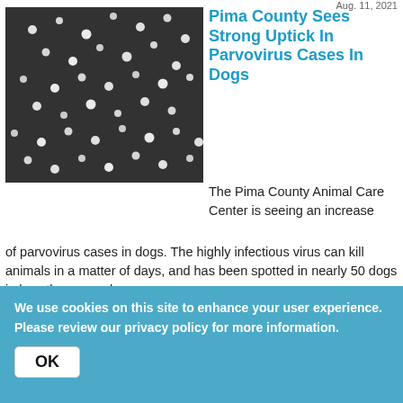Aug. 11, 2021
[Figure (photo): Microscope image showing parvovirus particles as white dots on a dark background]
Pima County Sees Strong Uptick In Parvovirus Cases In Dogs
The Pima County Animal Care Center is seeing an increase of parvovirus cases in dogs. The highly infectious virus can kill animals in a matter of days, and has been spotted in nearly 50 dogs in less than a week.
Aug. 28, 2021
[Figure (photo): Healthcare worker wearing a face shield and blue mask, holding a medical vial]
Arizona Surpasses 1 Million COVID-19 Cases
Arizona has now recorded more than 1 million cases of
We use cookies on this site to enhance your user experience. Please review our privacy policy for more information.